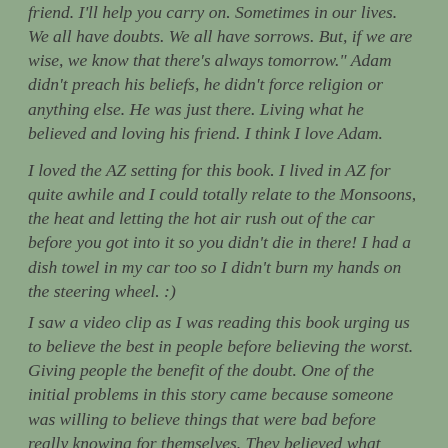friend.  I'll help you carry on.  Sometimes in our lives.  We all have doubts.  We all have sorrows.  But, if we are wise, we know that there's always tomorrow."  Adam didn't preach his beliefs, he didn't force religion or anything else.  He was just there.  Living what he believed and loving his friend.  I think I love Adam.
I loved the AZ setting for this book.  I lived in AZ for quite awhile and I could totally relate to the Monsoons, the heat and letting the hot air rush out of the car before you got into it so you didn't die in there!  I had a dish towel in my car too so I didn't burn my hands on the steering wheel.  :)
I saw a video clip as I was reading this book urging us to believe the best in people before believing the worst.  Giving people the benefit of the doubt.  One of the initial problems in this story came because someone was willing to believe things that were bad before really knowing for themselves.  They believed what someone else told them and acted on that before finding out for themselves.  It changed the lives of so many people, and not for the better.  I wonder how life and relationships would be changed if we just